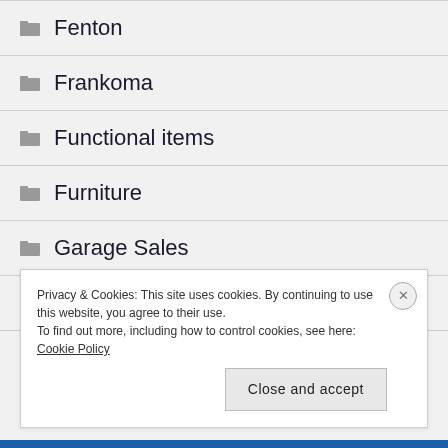Fenton
Frankoma
Functional items
Furniture
Garage Sales
gift ideas
Privacy & Cookies: This site uses cookies. By continuing to use this website, you agree to their use. To find out more, including how to control cookies, see here: Cookie Policy
Close and accept